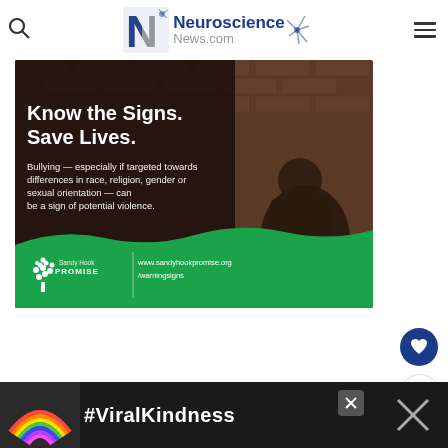Neuroscience News.com
[Figure (infographic): Sandy Hook Promise public service announcement showing a person slumped against a brick wall. Text reads: 'Know the Signs. Save Lives. Bullying — especially if targeted towards differences in race, religion, gender or sexual orientation — can be a sign of potential violence.' Sandy Hook Promise logo with tree icon and website www.sandyhookpromise.org/warningsigns]
[Figure (infographic): Bottom banner advertisement showing a rainbow graphic and text '#ViralKindness' with close button]